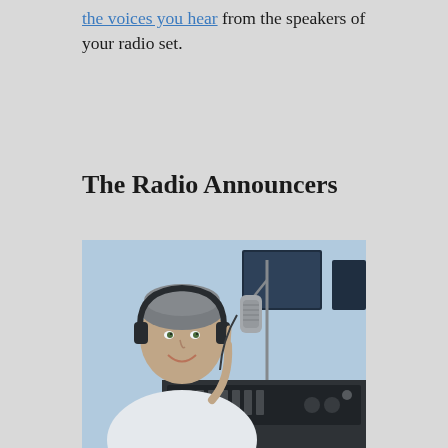the voices you hear from the speakers of your radio set.
The Radio Announcers
[Figure (photo): A male radio announcer wearing headphones, sitting at a broadcasting desk with a professional microphone, smiling and pointing upward with one finger. He is wearing a white shirt. The studio has equipment visible in the background.]